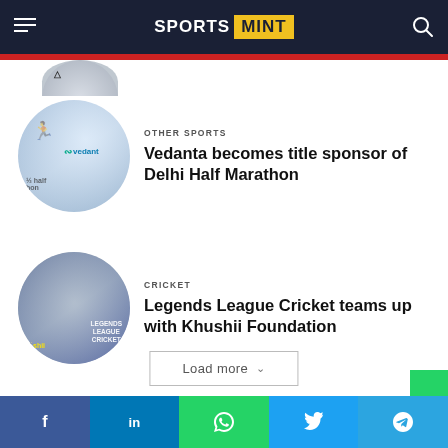SPORTS MINT
[Figure (photo): Partially visible circular thumbnail at top of article list]
OTHER SPORTS
Vedanta becomes title sponsor of Delhi Half Marathon
[Figure (photo): Circular thumbnail showing Vedanta Delhi Half Marathon event with vedanta logo and runners]
CRICKET
Legends League Cricket teams up with Khushii Foundation
[Figure (photo): Circular thumbnail showing Legends League Cricket branding with player and Khushii text]
Load more
f  in  WhatsApp  Twitter  Telegram